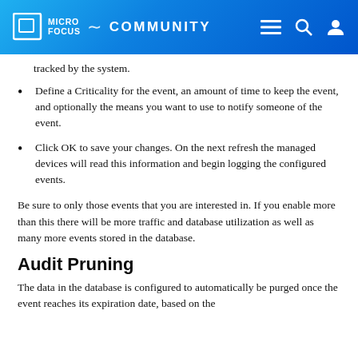MICRO FOCUS COMMUNITY
tracked by the system.
Define a Criticality for the event, an amount of time to keep the event, and optionally the means you want to use to notify someone of the event.
Click OK to save your changes. On the next refresh the managed devices will read this information and begin logging the configured events.
Be sure to only those events that you are interested in. If you enable more than this there will be more traffic and database utilization as well as many more events stored in the database.
Audit Pruning
The data in the database is configured to automatically be purged once the event reaches its expiration date, based on the